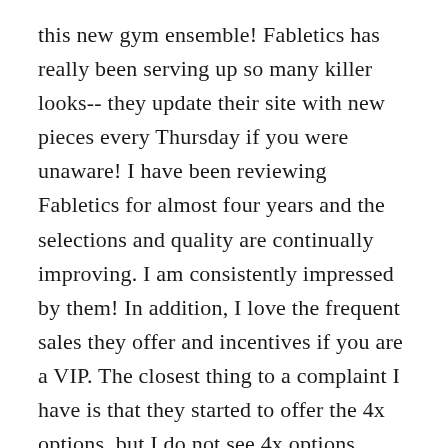this new gym ensemble! Fabletics has really been serving up so many killer looks-- they update their site with new pieces every Thursday if you were unaware! I have been reviewing Fabletics for almost four years and the selections and quality are continually improving. I am consistently impressed by them! In addition, I love the frequent sales they offer and incentives if you are a VIP. The closest thing to a complaint I have is that they started to offer the 4x options, but I do not see 4x options being consistently made available. Not only do I feel that they should offer 4x in all their items, but they should expand to 5x or 6x. Size doesn't preclude a bodacious babe from